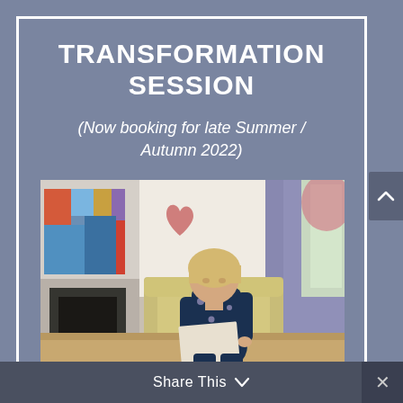TRANSFORMATION SESSION
(Now booking for late Summer / Autumn 2022)
[Figure (photo): A woman in a dark floral outfit sitting in a cream armchair in a bright interior room with colorful artwork on the wall]
Share This ∨
×